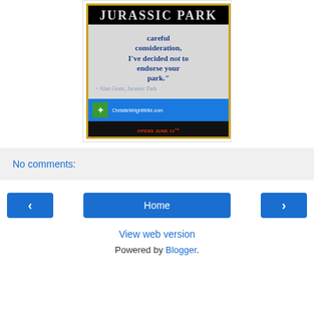[Figure (illustration): A Jurassic Park themed quote card. Shows the Jurassic Park logo at top, then a quote in blue text on grey background: 'careful consideration, I've decided not to endorse your park.' attributed to Alan Grant, Jurassic Park. Bottom has blue bar with ChristieWrightWild.com logo and URL, and a black bar with red 'OPENS JUNE 11th' text.]
No comments:
Home
View web version
Powered by Blogger.